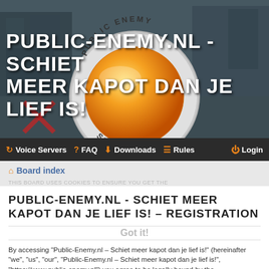[Figure (illustration): Gaming website banner with dark teal/grey background showing a shooter game scene. Center features a circular badge/emblem with 'PUBLIC ENEMY' text at the top and 'SINCE 2002' at the bottom, containing a large orange glossy sphere. Behind the badge is a game map environment.]
PUBLIC-ENEMY.NL - SCHIET MEER KAPOT DAN JE LIEF IS!
Voice Servers  FAQ  Downloads  Rules  Login
Board index
PUBLIC-ENEMY.NL - SCHIET MEER KAPOT DAN JE LIEF IS! - REGISTRATION
Got it!
By accessing "Public-Enemy.nl – Schiet meer kapot dan je lief is!" (hereinafter "we", "us", "our", "Public-Enemy.nl – Schiet meer kapot dan je lief is!", "https://www.public-enemy.nl") you agree to be legally bound by the